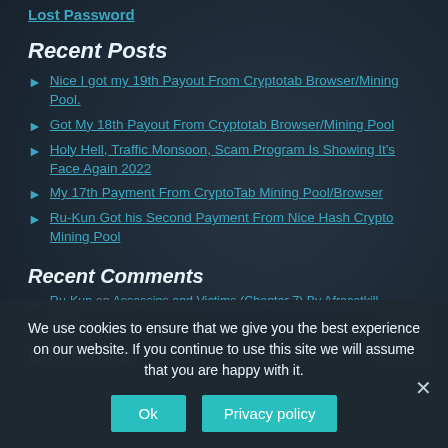Lost Password
Recent Posts
Nice I got my 19th Payout From Cryptotab Browser/Mining Pool.
Got My 18th Payout From Cryptotab Browser/Mining Pool
Holy Hell, Traffic Monsoon, Scam Program Is Showing It's Face Again 2022
My 17th Payment From CryptoTab Mining Pool/Browser
Ru-Kun Got his Second Payment From Nice Hash Crypto Mining Pool
Recent Comments
Ru-Kun on Assassins and Victims (Chapter 7) By Afrocatkill
Ru-Kun on ...
Categories
We use cookies to ensure that we give you the best experience on our website. If you continue to use this site we will assume that you are happy with it.